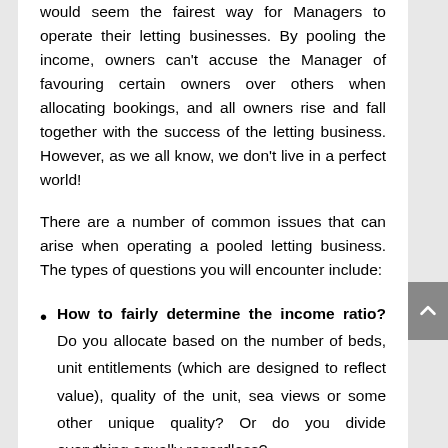would seem the fairest way for Managers to operate their letting businesses. By pooling the income, owners can't accuse the Manager of favouring certain owners over others when allocating bookings, and all owners rise and fall together with the success of the letting business. However, as we all know, we don't live in a perfect world!
There are a number of common issues that can arise when operating a pooled letting business. The types of questions you will encounter include:
How to fairly determine the income ratio? Do you allocate based on the number of beds, unit entitlements (which are designed to reflect value), quality of the unit, sea views or some other unique quality? Or do you divide everything equally regardless?